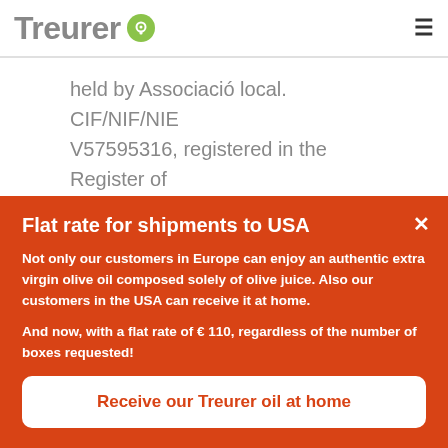Treurer
held by Associació local. CIF/NIF/NIE V57595316, registered in the Register of Agrarian Societies of Transformation of the Conselleria d'Agricultura i Pesca de les Illes Balears, and whose contact details are:
Flat rate for shipments to USA
Not only our customers in Europe can enjoy an authentic extra virgin olive oil composed solely of olive juice. Also our customers in the USA can receive it at home.

And now, with a flat rate of € 110, regardless of the number of boxes requested!
Receive our Treurer oil at home